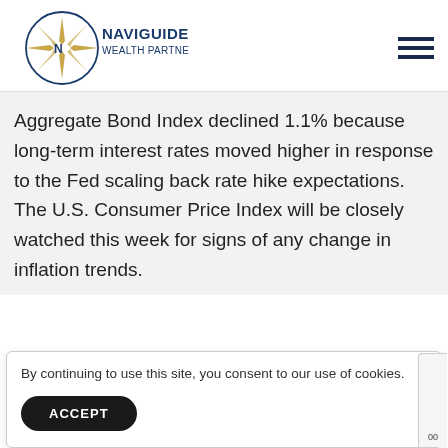[Figure (logo): NaviGuide Wealth Partners, Inc. logo with compass rose graphic and text]
Aggregate Bond Index declined 1.1% because long-term interest rates moved higher in response to the Fed scaling back rate hike expectations. The U.S. Consumer Price Index will be closely watched this week for signs of any change in inflation trends.
By continuing to use this site, you consent to our use of cookies.
ACCEPT